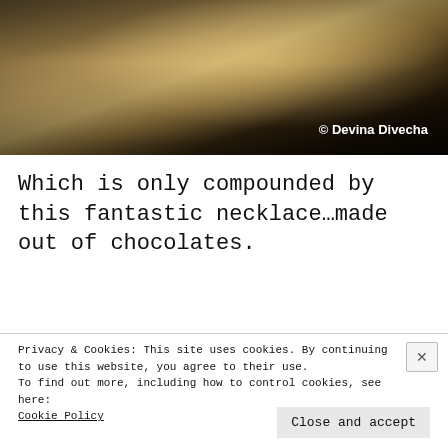[Figure (photo): Close-up photograph of what appears to be a chocolate necklace with a golden/amber bokeh background and dark areas. Watermark reads '© Devina Divecha' in white bold text.]
Which is only compounded by this fantastic necklace…made out of chocolates.
[Figure (photo): Partial view of another photograph with warm golden/amber tones and a green light visible on the right side.]
Privacy & Cookies: This site uses cookies. By continuing to use this website, you agree to their use.
To find out more, including how to control cookies, see here:
Cookie Policy
Close and accept